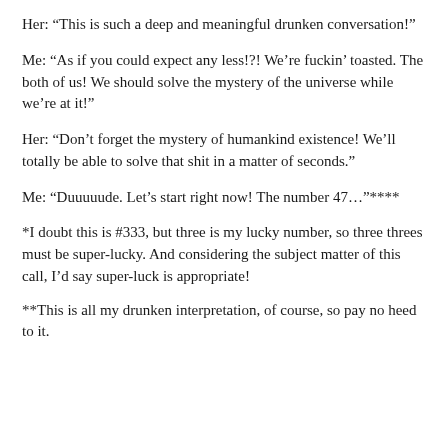Her: “This is such a deep and meaningful drunken conversation!”
Me: “As if you could expect any less!?! We’re fuckin’ toasted. The both of us! We should solve the mystery of the universe while we’re at it!”
Her: “Don’t forget the mystery of humankind existence! We’ll totally be able to solve that shit in a matter of seconds.”
Me: “Duuuuude. Let’s start right now! The number 47…”****
*I doubt this is #333, but three is my lucky number, so three threes must be super-lucky. And considering the subject matter of this call, I’d say super-luck is appropriate!
**This is all my drunken interpretation, of course, so pay no heed to it.